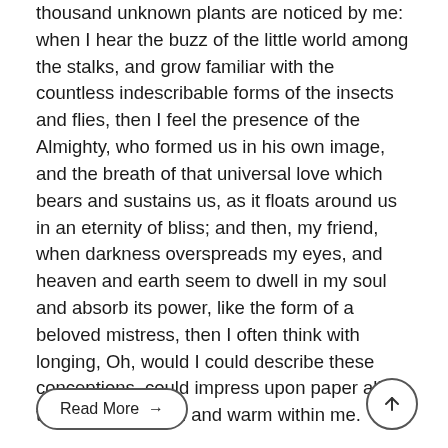thousand unknown plants are noticed by me: when I hear the buzz of the little world among the stalks, and grow familiar with the countless indescribable forms of the insects and flies, then I feel the presence of the Almighty, who formed us in his own image, and the breath of that universal love which bears and sustains us, as it floats around us in an eternity of bliss; and then, my friend, when darkness overspreads my eyes, and heaven and earth seem to dwell in my soul and absorb its power, like the form of a beloved mistress, then I often think with longing, Oh, would I could describe these conceptions, could impress upon paper all that is living so full and warm within me.
Read More →